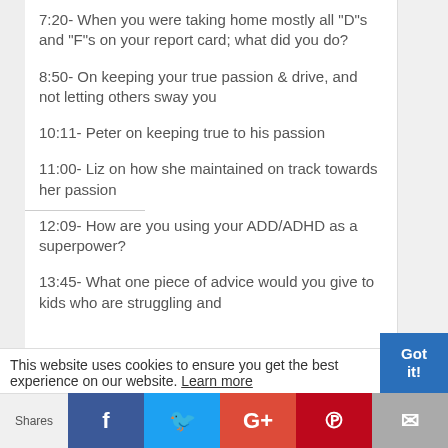7:20-  When you were taking home mostly all “D”s and “F”s on your report card; what did you do?
8:50-  On keeping your true passion & drive, and not letting others sway you
10:11-  Peter on keeping true to his passion
11:00-  Liz on how she maintained on track towards her passion
12:09-  How are you using your ADD/ADHD as a superpower?
13:45-  What one piece of advice would you give to kids who are struggling and
This website uses cookies to ensure you get the best experience on our website. Learn more
Got it!